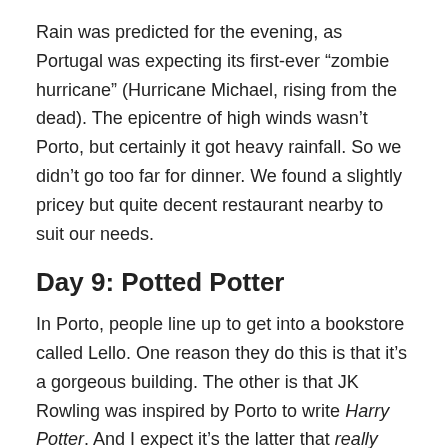Rain was predicted for the evening, as Portugal was expecting its first-ever “zombie hurricane” (Hurricane Michael, rising from the dead). The epicentre of high winds wasn’t Porto, but certainly it got heavy rainfall. So we didn’t go too far for dinner. We found a slightly pricey but quite decent restaurant nearby to suit our needs.
Day 9: Potted Potter
In Porto, people line up to get into a bookstore called Lello. One reason they do this is that it’s a gorgeous building. The other is that JK Rowling was inspired by Porto to write Harry Potter. And I expect it’s the latter that really explains the crowds, as Porto has a lot of nice buildings.